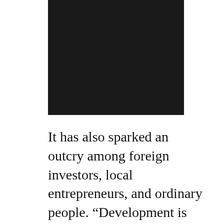[Figure (photo): Dark/black rectangular image block at the top center of the page]
It has also sparked an outcry among foreign investors, local entrepreneurs, and ordinary people. “Development is the foundation and key to solving all problems in China. It also